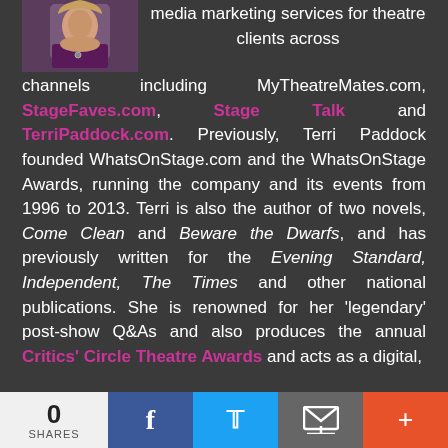[Figure (photo): Headshot photo of a woman with shoulder-length blonde hair wearing a dark top and necklace]
media marketing services for theatre clients across channels including MyTheatreMates.com, StageFaves.com, Stage Talk and TerriPaddock.com. Previously, Terri Paddock founded WhatsOnStage.com and the WhatsOnStage Awards, running the company and its events from 1996 to 2013. Terri is also the author of two novels, Come Clean and Beware the Dwarfs, and has previously written for the Evening Standard, Independent, The Times and other national publications. She is renowned for her 'legendary' post-show Q&As and also produces the annual Critics' Circle Theatre Awards and acts as a digital,
0 SHARES  [Facebook] [Twitter] [Email] [More]